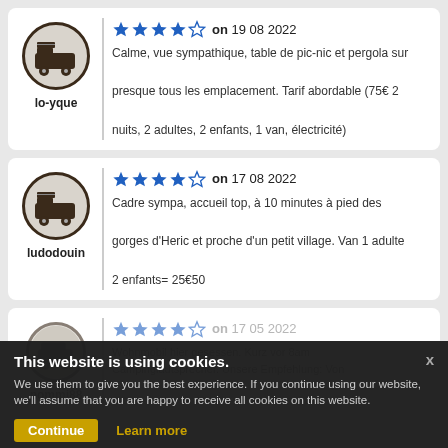lo-yque — 4/5 stars — on 19 08 2022 — Calme, vue sympathique, table de pic-nic et pergola sur presque tous les emplacement. Tarif abordable (75€ 2 nuits, 2 adultes, 2 enfants, 1 van, électricité)
ludodouin — 4/5 stars — on 17 08 2022 — Cadre sympa, accueil top, à 10 minutes à pied des gorges d'Heric et proche d'un petit village. Van 1 adulte 2 enfants= 25€50
pommi88 — 4/5 stars — on 17 05 2022 — Wohnmobil hier gesessen. Kurz vor 8am Campinglautsprecher. Unsere Empfehlung: Von
This website is using cookies. We use them to give you the best experience. If you continue using our website, we'll assume that you are happy to receive all cookies on this website. Continue | Learn more